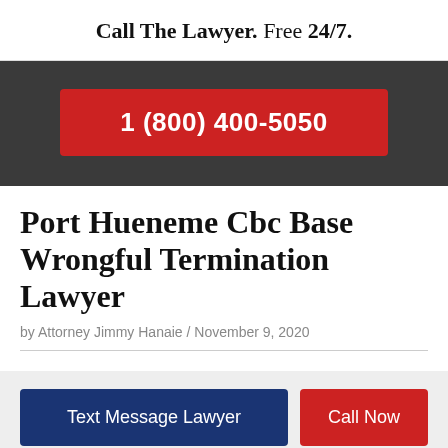Call The Lawyer. Free 24/7.
1 (800) 400-5050
Port Hueneme Cbc Base Wrongful Termination Lawyer
by Attorney Jimmy Hanaie / November 9, 2020
Text Message Lawyer
Call Now
Millions of Dollars Recovered